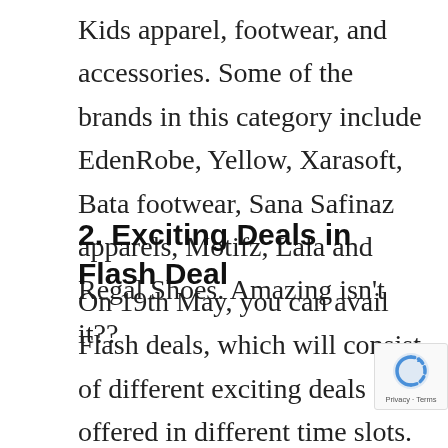Kids apparel, footwear, and accessories. Some of the brands in this category include EdenRobe, Yellow, Xarasoft, Bata footwear, Sana Safinaz apparels, Motifz, Lala and Regal Shoes. Amazing isn't it??
2. Exciting Deals in Flash Deal
On 19th May, you can avail Flash deals, which will consist of different exciting deals offered in different time slots. You can buy all Ramzan products, including Iftar and Sehri items on this Shopping Day. Apart from this, you can find exciting deals on Eid products including men and women's apparel, footwear, accessories